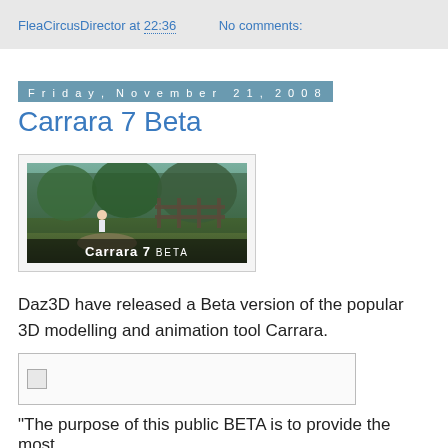FleaCircusDirector at 22:36   No comments:
Friday, November 21, 2008
Carrara 7 Beta
[Figure (photo): Carrara 7 Beta promotional image showing a 3D rendered scene with a figure in a garden/outdoor setting, with 'Carrara 7 BETA' text overlay at the bottom]
Daz3D have released a Beta version of the popular 3D modelling and animation tool Carrara.
[Figure (photo): Broken/missing image placeholder in a bordered box]
"The purpose of this public BETA is to provide the most